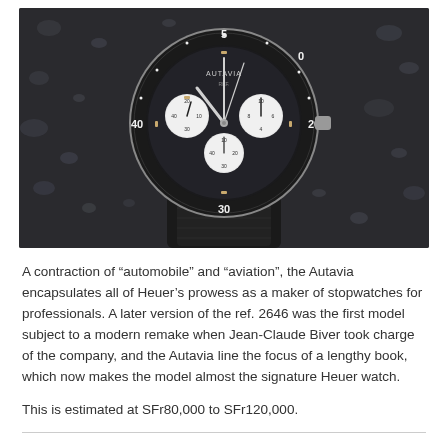[Figure (photo): Close-up photograph of a vintage Heuer Autavia chronograph watch with a black bezel and dial showing three white sub-dials, luminous hands, and a black leather strap, resting on a wet dark surface.]
A contraction of “automobile” and “aviation”, the Autavia encapsulates all of Heuer’s prowess as a maker of stopwatches for professionals. A later version of the ref. 2646 was the first model subject to a modern remake when Jean-Claude Biver took charge of the company, and the Autavia line the focus of a lengthy book, which now makes the model almost the signature Heuer watch.
This is estimated at SFr80,000 to SFr120,000.